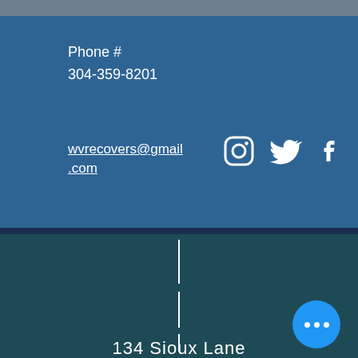Phone #
304-359-8201
wvrecovers@gmail.com
[Figure (infographic): Social media icons: Instagram, Twitter, Facebook in white on blue background]
[Figure (illustration): Dashed vertical road line on dark teal background]
134 Sioux Lane